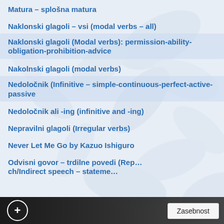Matura – splošna matura
Naklonski glagoli – vsi (modal verbs – all)
Naklonski glagoli (Modal verbs): permission-ability-obligation-prohibition-advice
Nakolnski glagoli (modal verbs)
Nedoločnik (Infinitive – simple-continuous-perfect-active-passive
Nedoločnik ali -ing (infinitive and -ing)
Nepravilni glagoli (Irregular verbs)
Never Let Me Go by Kazuo Ishiguro
Odvisni govor – trdilne povedi (Reported speech/Indirect speech – statements